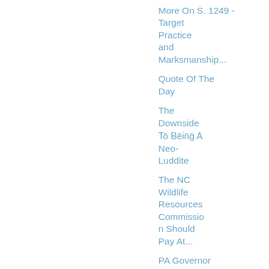More On S. 1249 - Target Practice and Marksmanship...
Quote Of The Day
The Downside To Being A Neo-Luddite
The NC Wildlife Resources Commission Should Pay At...
PA Governor Signs